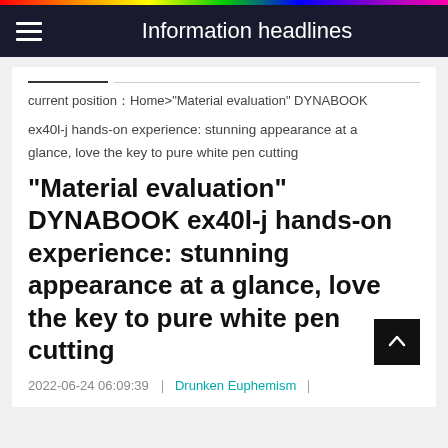Information headlines
current position：Home>"Material evaluation" DYNABOOK ex40l-j hands-on experience: stunning appearance at a glance, love the key to pure white pen cutting
"Material evaluation" DYNABOOK ex40l-j hands-on experience: stunning appearance at a glance, love the key to pure white pen cutting
2022-06-24 06:09:39  ｜Drunken Euphemism｜